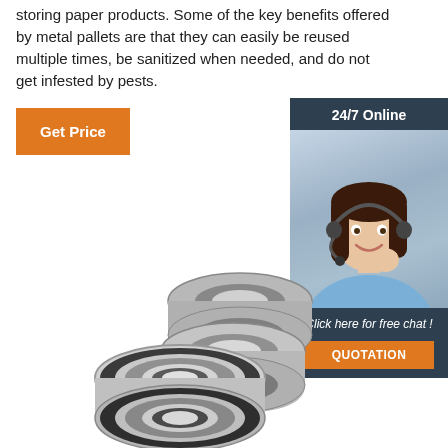storing paper products. Some of the key benefits offered by metal pallets are that they can easily be reused multiple times, be sanitized when needed, and do not get infested by pests.
[Figure (other): Orange 'Get Price' button]
[Figure (other): Sidebar with '24/7 Online' header, photo of customer service representative with headset, 'Click here for free chat!' text, and orange 'QUOTATION' button on dark blue background]
[Figure (photo): Stack of metal ball bearings (sealed roller bearings), photographed in silver/chrome finish]